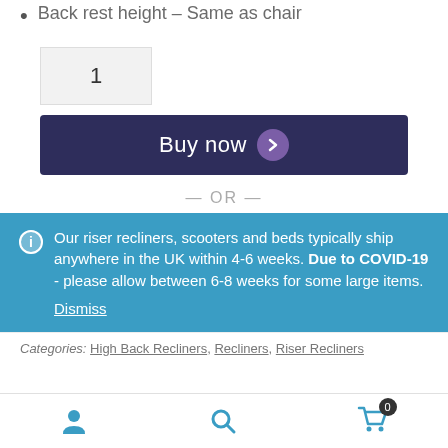Back rest height – Same as chair
1
Buy now
— OR —
Our riser recliners, scooters and beds typically ship anywhere in the UK within 4-6 weeks. Due to COVID-19 - please allow between 6-8 weeks for some large items. Dismiss
Categories: High Back Recliners, Recliners, Riser Recliners
User icon | Search icon | Cart icon (0)